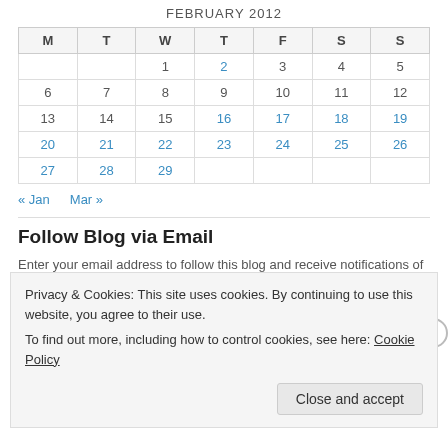FEBRUARY 2012
| M | T | W | T | F | S | S |
| --- | --- | --- | --- | --- | --- | --- |
|  |  | 1 | 2 | 3 | 4 | 5 |
| 6 | 7 | 8 | 9 | 10 | 11 | 12 |
| 13 | 14 | 15 | 16 | 17 | 18 | 19 |
| 20 | 21 | 22 | 23 | 24 | 25 | 26 |
| 27 | 28 | 29 |  |  |  |  |
« Jan    Mar »
Follow Blog via Email
Enter your email address to follow this blog and receive notifications of
Privacy & Cookies: This site uses cookies. By continuing to use this website, you agree to their use. To find out more, including how to control cookies, see here: Cookie Policy